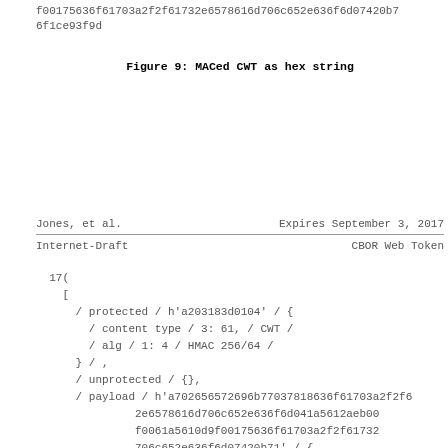f00175636f61703a2f2f61732e6578616d706c652e636f6d07420b7
6f1ce93f9d
Figure 9: MACed CWT as hex string
Jones, et al.          Expires September 3, 2017
Internet-Draft                    CBOR Web Token
17(
  [
    / protected / h'a203183d0104' / {
      / content type / 3: 61, / CWT /
      / alg / 1: 4 / HMAC 256/64 /
    } / ,
    / unprotected / {},
    / payload / h'a702656572696b77037818636f61703a2f2f6
             2e6578616d706c652e636f6d041a5612aeb00
             f0061a5610d9f00175636f61703a2f2f61732
             706c652e636f6d07420b71' / {